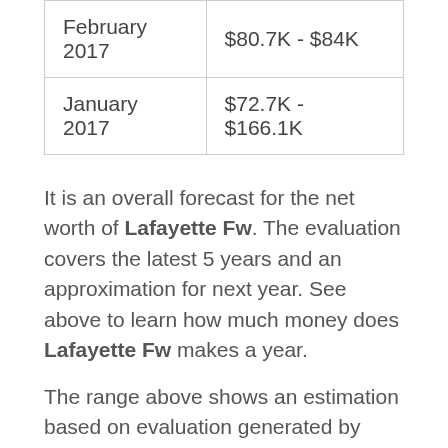| February 2017 | $80.7K - $84K |
| January 2017 | $72.7K - $166.1K |
It is an overall forecast for the net worth of Lafayette Fw. The evaluation covers the latest 5 years and an approximation for next year. See above to learn how much money does Lafayette Fw makes a year.
The range above shows an estimation based on evaluation generated by public information about sponsorships or other sources found on the internet. It's summarized data from Lafayette Fw's